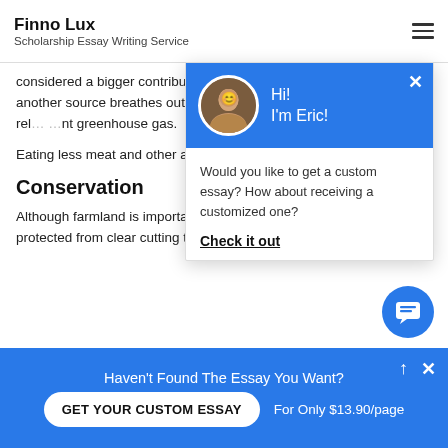Finno Lux
Scholarship Essay Writing Service
energy that does not require burning fossil fuels, like coal or oil.
considered a bigger contributor to global warming than automobiles, another source breathes out carbon dioxide being smelly (methane is rel nt greenhouse gas.
Eating less meat and other a se methane and carbon dioxide
Conservation
Although farmland is important for our food supply, sa need to be protected from clear cutting to make room f
[Figure (screenshot): Chat popup overlay with blue header showing avatar of Eric and greeting 'Hi! I'm Eric!' with message 'Would you like to get a custom essay? How about receiving a customized one?' and 'Check it out' link]
Haven't Found The Essay You Want?
GET YOUR CUSTOM ESSAY   For Only $13.90/page